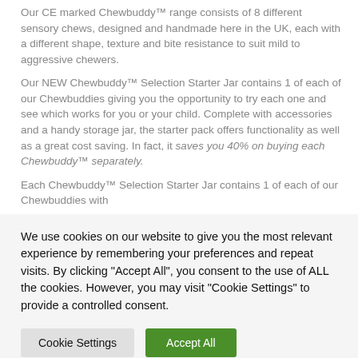Our CE marked Chewbuddy™ range consists of 8 different sensory chews, designed and handmade here in the UK, each with a different shape, texture and bite resistance to suit mild to aggressive chewers.
Our NEW Chewbuddy™ Selection Starter Jar contains 1 of each of our Chewbuddies giving you the opportunity to try each one and see which works for you or your child. Complete with accessories and a handy storage jar, the starter pack offers functionality as well as a great cost saving. In fact, it saves you 40% on buying each Chewbuddy™ separately.
Each Chewbuddy™ Selection Starter Jar contains 1 of each of our Chewbuddies with
We use cookies on our website to give you the most relevant experience by remembering your preferences and repeat visits. By clicking "Accept All", you consent to the use of ALL the cookies. However, you may visit "Cookie Settings" to provide a controlled consent.